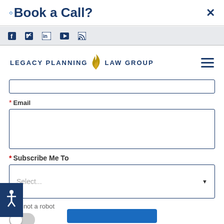Book a Call?
[Figure (screenshot): Social media icons bar: Facebook, Twitter, LinkedIn, YouTube, RSS]
[Figure (logo): Legacy Planning Law Group logo with flame icon]
* Email
* Subscribe Me To
Select...
I am not a robot